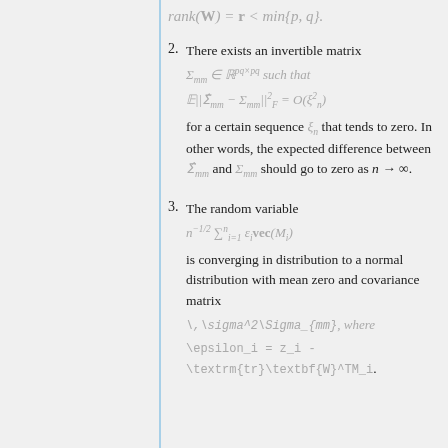2. There exists an invertible matrix Σ_mm ∈ ℝ^{pq×pq} such that 𝔼||Σ̂_mm − Σ_mm||²_F = O(ξ²_n) for a certain sequence ξ_n that tends to zero. In other words, the expected difference between Σ̂_mm and Σ_mm should go to zero as n → ∞.
3. The random variable n^{-1/2} Σ^n_{i=1} ε_i vec(M_i) is converging in distribution to a normal distribution with mean zero and covariance matrix \,\sigma^2\Sigma_{mm}, where \epsilon_i = z_i - \textrm{tr}\textbf{W}^TM_i.